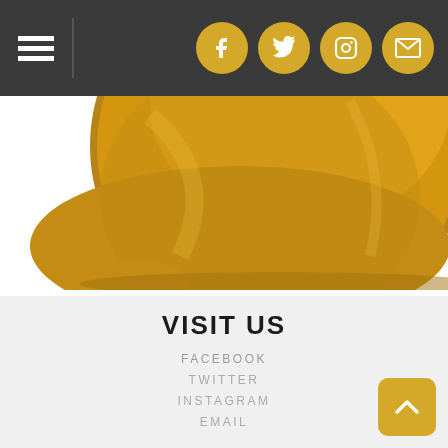Navigation bar with hamburger menu and social icons (Facebook, Twitter, Instagram, Email)
[Figure (photo): Close-up photograph of a yellow/golden construction hard hat viewed from below, showing the interior brim and top surface with worn texture. The hard hat fills most of the frame against a white background.]
VISIT US
FACEBOOK
TWITTER
INSTAGRAM
EMAIL